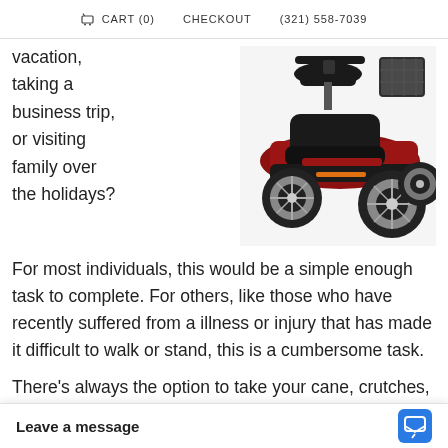CART (0)   CHECKOUT   (321) 558-7039
vacation, taking a business trip, or visiting family over the holidays?
[Figure (photo): Red four-wheeled mobility scooter with black seat and rear basket, viewed from the front-right angle]
For most individuals, this would be a simple enough task to complete. For others, like those who have recently suffered from a illness or injury that has made it difficult to walk or stand, this is a cumbersome task.
There’s always the option to take your cane, crutches, or walker everywhere you go, but what happens when you grow tired waiting in a line at the airport the parade to ho
Leave a message